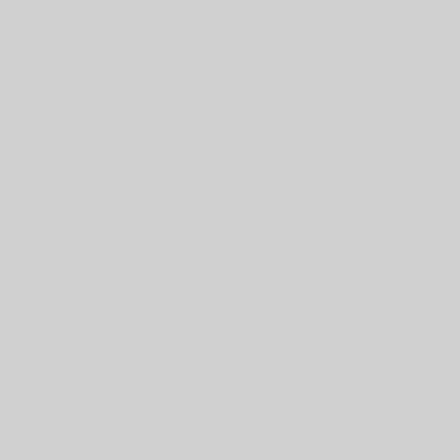privileges, by the name of Penns Wales, being a hilly country; and Sylvania, and they added Penn to He said 'twas past, and he would vary the name; for I feared it sho father, as it really was. Thou may a dear and just thing, and my Go make it the seed of a nation. I sh pledge was not forgotten ; he spe system of government, and put s prosperity of the colony.

In commemorating the landing a more grateful tribute to his me Philadelphia. The increase, and t of the labors and foresight of its progress of Philadelphia in arts, scientific, and benevolent institu happiness of a

people. His delineations are thos springs of social action, and the dwell on particulars, and must co style, and expresses sentiments,

In the crucible of liberty, all th